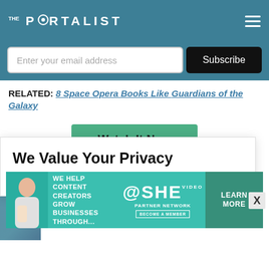THE PORTALIST
Enter your email address  Subscribe
RELATED: 8 Space Opera Books Like Guardians of the Galaxy
Watch It Now
We Value Your Privacy
This site uses cookies to improve user experience
[Figure (infographic): SHE Partner Network advertisement banner: WE HELP CONTENT CREATORS GROW BUSINESSES THROUGH... with LEARN MORE button]
X (close button)